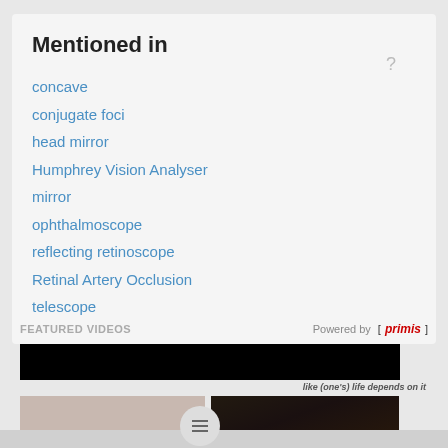Mentioned in
concave
conjugate foci
head mirror
Humphrey Vision Analyser
mirror
ophthalmoscope
reflecting retinoscope
Retinal Artery Occlusion
telescope
FEATURED VIDEOS
Powered by [primis]
[Figure (screenshot): Featured video player area showing a black video frame with subtitle 'like (one's) life depends on it' and a thumbnail image of people on stage in the bottom right.]